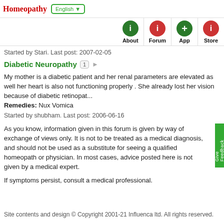Homeopathy | English ▼ | About | Forum | App | Store
Started by Stari. Last post: 2007-02-05
Diabetic Neuropathy 1
My mother is a diabetic patient and her renal parameters are elevated as well her heart is also not functioning properly . She already lost her vision because of diabetic retinopat... Remedies: Nux Vomica
Started by shubham. Last post: 2006-06-16
As you know, information given in this forum is given by way of exchange of views only. It is not to be treated as a medical diagnosis, and should not be used as a substitute for seeing a qualified homeopath or physician. In most cases, advice posted here is not given by a medical expert.
If symptoms persist, consult a medical professional.
Site contents and design © Copyright 2001-21 Influenca ltd. All rights reserved.